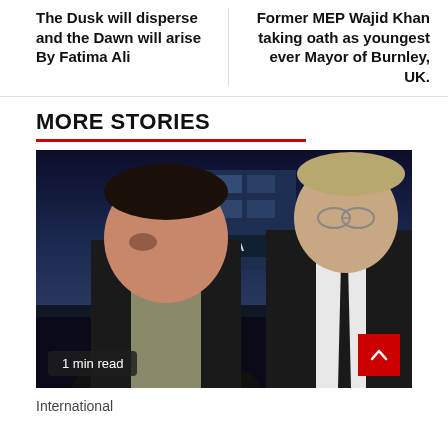The Dusk will disperse and the Dawn will arise By Fatima Ali
Former MEP Wajid Khan taking oath as youngest ever Mayor of Burnley, UK.
MORE STORIES
[Figure (photo): Two men standing outdoors at night in front of a lit building with 'ALFA' signage. The man on the left is South Asian, wearing a dark suit. The man on the right is Caucasian, wearing a dark suit with a black tie. A badge reads '1 min read'. A red scroll-up button is visible in the bottom right corner.]
International